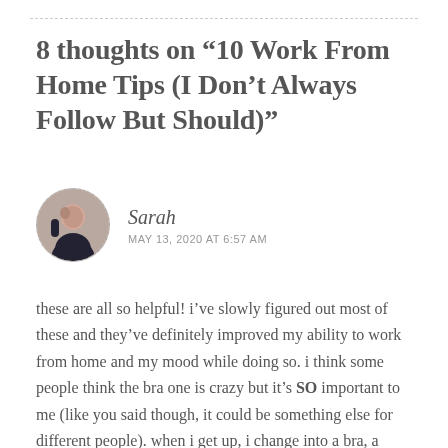8 thoughts on “10 Work From Home Tips (I Don’t Always Follow But Should)”
Sarah
MAY 13, 2020 AT 6:57 AM
these are all so helpful! i’ve slowly figured out most of these and they’ve definitely improved my ability to work from home and my mood while doing so. i think some people think the bra one is crazy but it’s SO important to me (like you said though, it could be something else for different people). when i get up, i change into a bra, a shirt, and leggings. i’m still